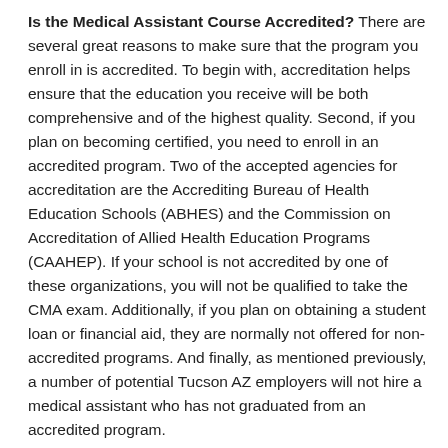Is the Medical Assistant Course Accredited? There are several great reasons to make sure that the program you enroll in is accredited. To begin with, accreditation helps ensure that the education you receive will be both comprehensive and of the highest quality. Second, if you plan on becoming certified, you need to enroll in an accredited program. Two of the accepted agencies for accreditation are the Accrediting Bureau of Health Education Schools (ABHES) and the Commission on Accreditation of Allied Health Education Programs (CAAHEP). If your school is not accredited by one of these organizations, you will not be qualified to take the CMA exam. Additionally, if you plan on obtaining a student loan or financial aid, they are normally not offered for non-accredited programs. And finally, as mentioned previously, a number of potential Tucson AZ employers will not hire a medical assistant who has not graduated from an accredited program.